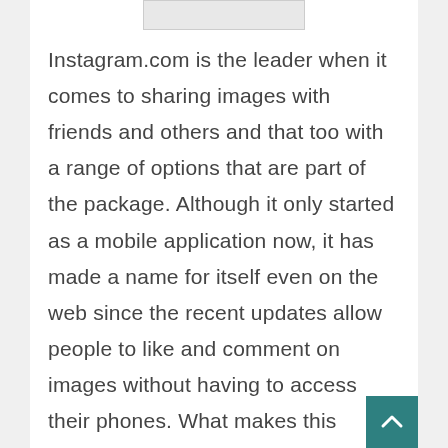[Figure (other): Partial image visible at top of page, cropped screenshot or thumbnail]
Instagram.com is the leader when it comes to sharing images with friends and others and that too with a range of options that are part of the package. Although it only started as a mobile application now, it has made a name for itself even on the web since the recent updates allow people to like and comment on images without having to access their phones. What makes this platform, even more, fun for people is the fact that they can interact with each other, share happy moments of their lives, tag each other and befriend. It has, therefore, become a social